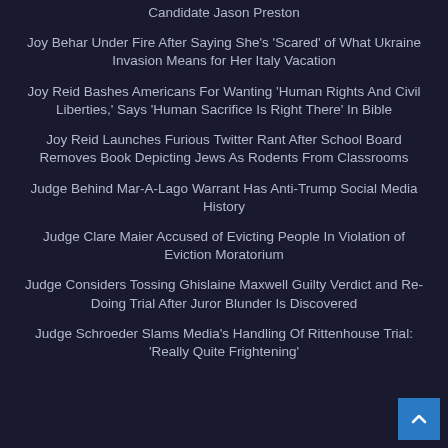Candidate Jason Preston
Joy Behar Under Fire After Saying She's 'Scared' of What Ukraine Invasion Means for Her Italy Vacation
Joy Reid Bashes Americans For Wanting 'Human Rights And Civil Liberties,' Says 'Human Sacrifice Is Right There' In Bible
Joy Reid Launches Furious Twitter Rant After School Board Removes Book Depicting Jews As Rodents From Classrooms
Judge Behind Mar-A-Lago Warrant Has Anti-Trump Social Media History
Judge Clare Maier Accused of Evicting People In Violation of Eviction Moratorium
Judge Considers Tossing Ghislaine Maxwell Guilty Verdict and Re-Doing Trial After Juror Blunder Is Discovered
Judge Schroeder Slams Media's Handling Of Rittenhouse Trial: 'Really Quite Frightening'